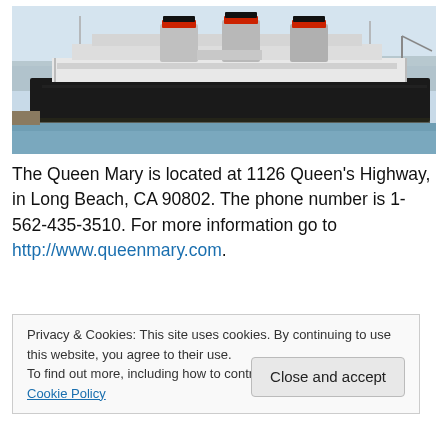[Figure (photo): The Queen Mary ocean liner docked at Long Beach harbor, showing the large black-hulled ship with three distinctive red and black funnels against a light blue sky and calm water.]
The Queen Mary is located at 1126 Queen's Highway, in Long Beach, CA 90802. The phone number is 1-562-435-3510. For more information go to http://www.queenmary.com.
Privacy & Cookies: This site uses cookies. By continuing to use this website, you agree to their use.
To find out more, including how to control cookies, see here: Cookie Policy
Close and accept